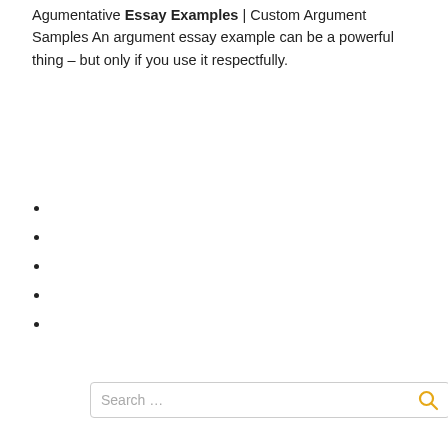Agumentative Essay Examples | Custom Argument Samples An argument essay example can be a powerful thing – but only if you use it respectfully.